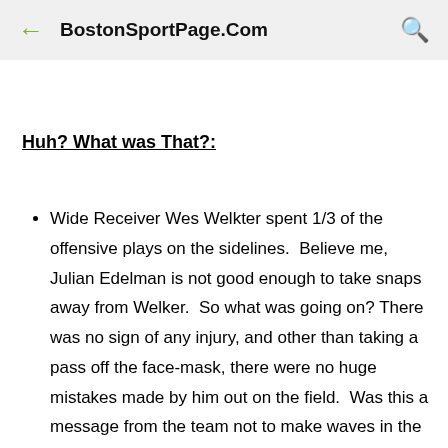BostonSportPage.Com
Huh? What was That?:
Wide Receiver Wes Welkter spent 1/3 of the offensive plays on the sidelines.  Believe me, Julian Edelman is not good enough to take snaps away from Welker.  So what was going on? There was no sign of any injury, and other than taking a pass off the face-mask, there were no huge mistakes made by him out on the field.  Was this a message from the team not to make waves in the